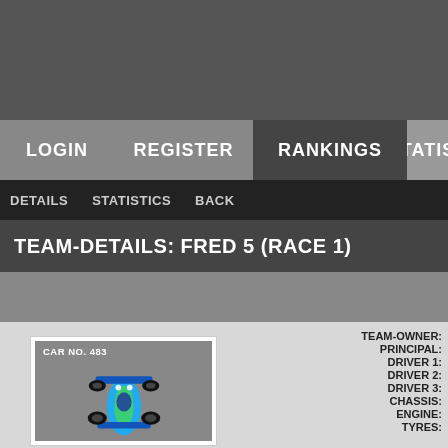LOGIN   REGISTER   RANKINGS   STATIST...
DETAILS   STATISTICS   BACK
TEAM-DETAILS: FRED 5 (RACE 1)
[Figure (photo): Top-down view of a blue and green RC/formula racing car with number 483]
CAR NO. 483
TEAM-OWNER:
PRINCIPAL:
DRIVER 1:
DRIVER 2:
DRIVER 3:
CHASSIS:
ENGINE:
TYRES: